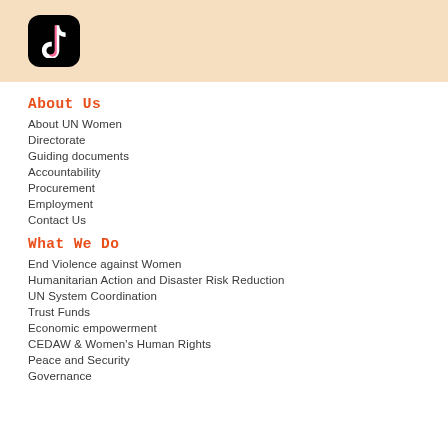[Figure (logo): TikTok app icon on a peach/cream banner background]
About Us
About UN Women
Directorate
Guiding documents
Accountability
Procurement
Employment
Contact Us
What We Do
End Violence against Women
Humanitarian Action and Disaster Risk Reduction
UN System Coordination
Trust Funds
Economic empowerment
CEDAW & Women's Human Rights
Peace and Security
Governance